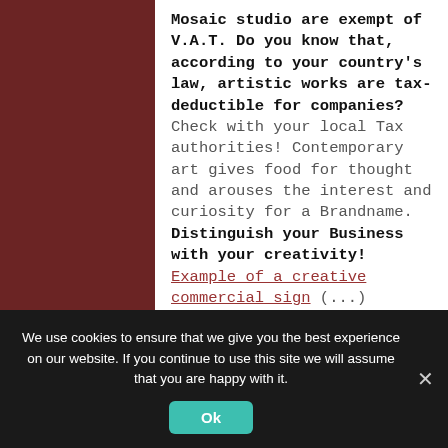Mosaic studio are exempt of V.A.T. Do you know that, according to your country's law, artistic works are tax-deductible for companies? Check with your local Tax authorities! Contemporary art gives food for thought and arouses the interest and curiosity for a Brandname. Distinguish your Business with your creativity! Example of a creative commercial sign (...)
[Figure (other): Dark brownish-red bar at the bottom of the content area with faint text 'CONTACT' in uppercase monospace letters]
We use cookies to ensure that we give you the best experience on our website. If you continue to use this site we will assume that you are happy with it.